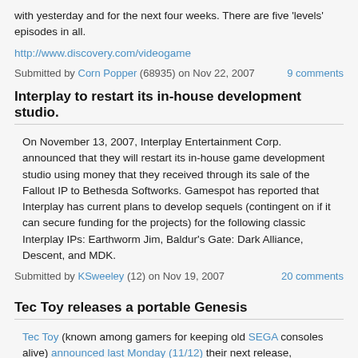with yesterday and for the next four weeks. There are five 'levels' episodes in all.
http://www.discovery.com/videogame
Submitted by Corn Popper (68935) on Nov 22, 2007 — 9 comments
Interplay to restart its in-house development studio.
On November 13, 2007, Interplay Entertainment Corp. announced that they will restart its in-house game development studio using money that they received through its sale of the Fallout IP to Bethesda Softworks. Gamespot has reported that Interplay has current plans to develop sequels (contingent on if it can secure funding for the projects) for the following classic Interplay IPs: Earthworm Jim, Baldur's Gate: Dark Alliance, Descent, and MDK.
Submitted by KSweeley (12) on Nov 19, 2007 — 20 comments
Tec Toy releases a portable Genesis
Tec Toy (known among gamers for keeping old SEGA consoles alive) announced last Monday (11/12) their next release, scheduled for December 5th: a portable Genesis console. It will cost R$ 199,00 (about US$ 115,00), will come with 20 embedded games and no cartridge slot.
The games available are: Alex Kidd in the Enchanted Castle, Alien Storm, Altered Beast, Arrow Flash, Columns III, Crack Down, Decanattack, Dr